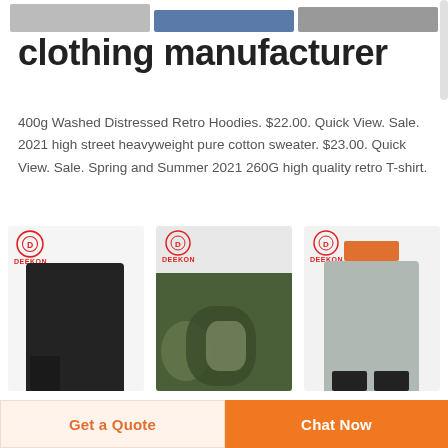[Figure (photo): Partial view of clothing product images at top of page (cropped)]
clothing manufacturer
400g Washed Distressed Retro Hoodies. $22.00. Quick View. Sale. 2021 high street heavyweight pure cotton sweater. $23.00. Quick View. Sale. Spring and Summer 2021 260G high quality retro T-shirt.
[Figure (photo): Three Deekon brand product photos: black camouflage long raincoat, green camouflage fabric, and grey workwear coverall with orange collar]
Wound Care/Bandages –
Get a Quote
Chat Now